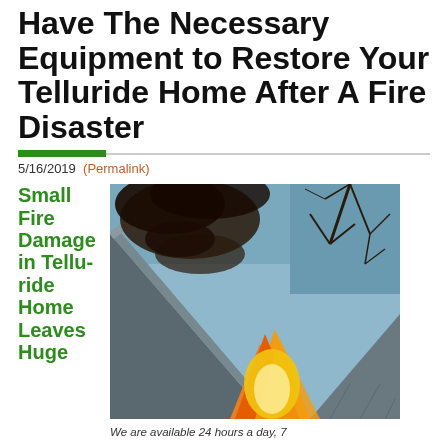Have The Necessary Equipment to Restore Your Telluride Home After A Fire Disaster
5/16/2019 (Permalink)
Small Fire Damage in Telluride Home Leaves Huge
[Figure (photo): A house on fire, showing the roofline and gable end with flames visible through the structure, smoke rising against a twilight sky with bare tree branches visible.]
We are available 24 hours a day, 7